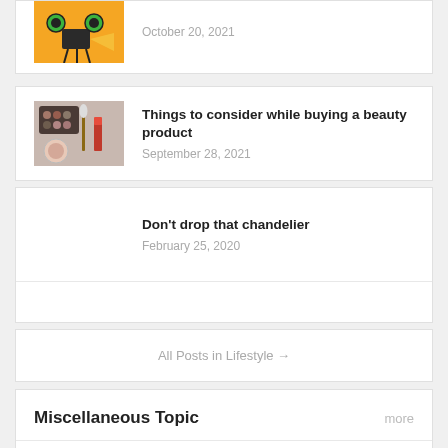[Figure (illustration): Orange background with film projector illustration (partial, top of page)]
October 20, 2021
Things to consider while buying a beauty product
September 28, 2021
Don't drop that chandelier
February 25, 2020
All Posts in Lifestyle →
Miscellaneous Topic
more
[Figure (photo): Two partial thumbnail photos at the bottom]